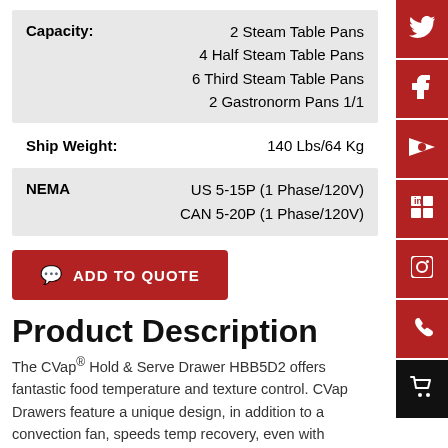| Capacity: |  |
| --- | --- |
|  | 2 Steam Table Pans |
|  | 4 Half Steam Table Pans |
|  | 6 Third Steam Table Pans |
|  | 2 Gastronorm Pans 1/1 |
| Ship Weight: | 140 Lbs/64 Kg |
| --- | --- |
| NEMA |  |
| --- | --- |
|  | US 5-15P (1 Phase/120V) |
|  | CAN 5-20P (1 Phase/120V) |
ADD TO QUOTE
Product Description
The CVap® Hold & Serve Drawer HBB5D2 offers fantastic food temperature and texture control. CVap Drawers feature a unique design, in addition to a convection fan, speeds temp recovery, even with frequent openings.
The HBB5D2 is ideal for QSRs, kiosks, or any operation with